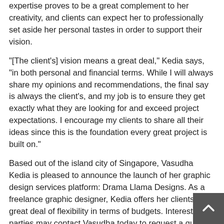expertise proves to be a great complement to her creativity, and clients can expect her to professionally set aside her personal tastes in order to support their vision.
"[The client's] vision means a great deal," Kedia says, "in both personal and financial terms. While I will always share my opinions and recommendations, the final say is always the client's, and my job is to ensure they get exactly what they are looking for and exceed project expectations. I encourage my clients to share all their ideas since this is the foundation every great project is built on."
Based out of the island city of Singapore, Vasudha Kedia is pleased to announce the launch of her graphic design services platform: Drama Llama Designs. As a freelance graphic designer, Kedia offers her clients a great deal of flexibility in terms of budgets. Interested parties may contact Vasudha today to request a quote for their next project. For more information visit: https://www.globenewswire.com/news-release/2022/05/10/2440102/0/en/Vasudha-Kedia-Launches-Graphic-Design-Services-In-Singapore-Drama-Llama-Designs.html
Although the company has been founded only recently, Kedia brings with her more than a decade of experience in graphic